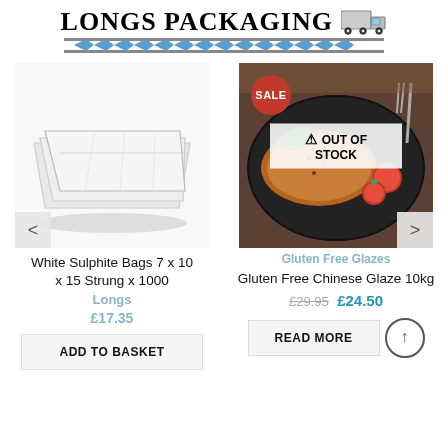LONGS PACKAGING
[Figure (illustration): White sulphite bags product photo - stacked white paper bags on white background]
White Sulphite Bags 7 x 10 x 15 Strung x 1000
Longs
£17.35
ADD TO BASKET
[Figure (photo): Gluten Free Chinese Glaze product photo - cooked meat in cast iron skillet with tomatoes and herbs. Has SALE badge and OUT OF STOCK overlay.]
Gluten Free Glazes
Gluten Free Chinese Glaze 10kg
£29.95  £24.50
READ MORE